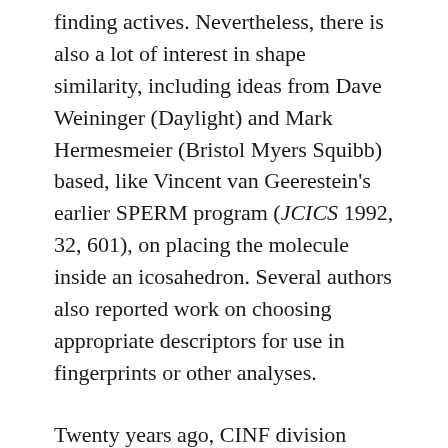finding actives. Nevertheless, there is also a lot of interest in shape similarity, including ideas from Dave Weininger (Daylight) and Mark Hermesmeier (Bristol Myers Squibb) based, like Vincent van Geerestein's earlier SPERM program (JCICS 1992, 32, 601), on placing the molecule inside an icosahedron. Several authors also reported work on choosing appropriate descriptors for use in fingerprints or other analyses.
Twenty years ago, CINF division concentrated primarily on the problems of chemical documentation, and its interest in computers was restricted to the fact that they were a more efficient tool than card indexes for doing what